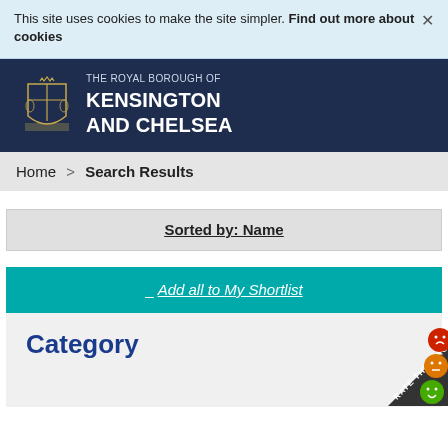This site uses cookies to make the site simpler. Find out more about cookies
[Figure (logo): The Royal Borough of Kensington and Chelsea council crest and name logo on dark navy background]
Home > Search Results
Sorted by: Name
_ Add all to My Shortlist
[Figure (infographic): Rate This Page diagonal stamp with smiley face rating icons (red frowning, orange neutral, green smiling)]
Category